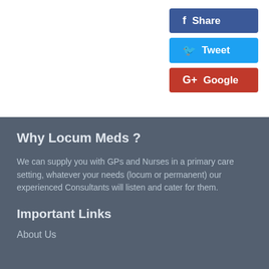[Figure (other): Facebook Share button (dark blue), Twitter Tweet button (light blue), Google+ Google button (red) — social sharing buttons in top-right area]
Why Locum Meds ?
We can supply you with GPs and Nurses in a primary care setting, whatever your needs (locum or permanent) our experienced Consultants will listen and cater for them.
Important Links
About Us